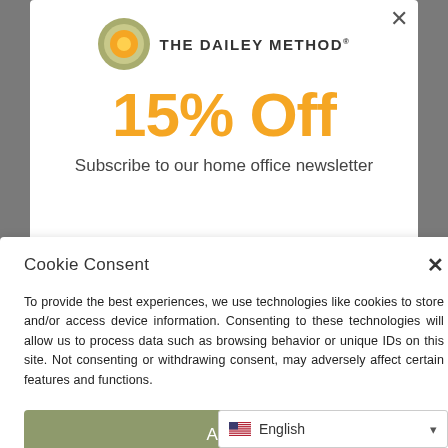[Figure (logo): The Dailey Method logo — circular orange and green target icon with text 'THE DAILEY METHOD']
15% Off
Subscribe to our home office newsletter
Cookie Consent
To provide the best experiences, we use technologies like cookies to store and/or access device information. Consenting to these technologies will allow us to process data such as browsing behavior or unique IDs on this site. Not consenting or withdrawing consent, may adversely affect certain features and functions.
Accept
English